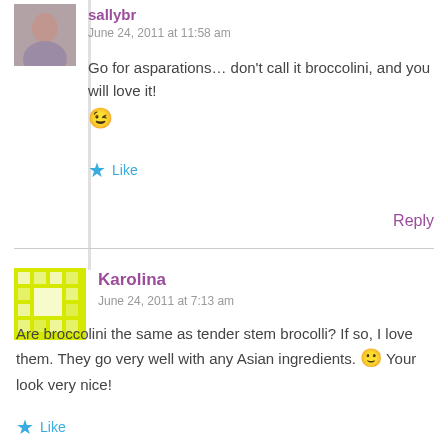sallybr
June 24, 2011 at 11:58 am
Go for asparations… don't call it broccolini, and you will love it! 😉
★ Like
Reply
Karolina
June 24, 2011 at 7:13 am
Are broccolini the same as tender stem brocolli? If so, I love them. They go very well with any Asian ingredients. 🙂 Your look very nice!
★ Like